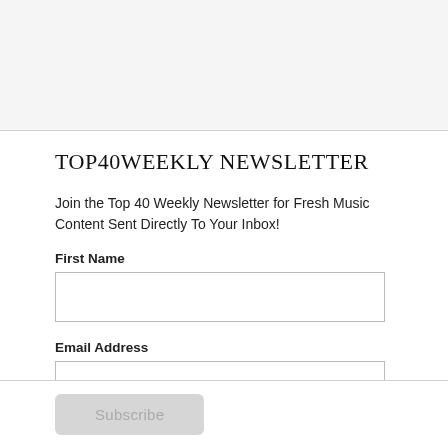TOP40WEEKLY NEWSLETTER
Join the Top 40 Weekly Newsletter for Fresh Music Content Sent Directly To Your Inbox!
First Name
Email Address
Subscribe